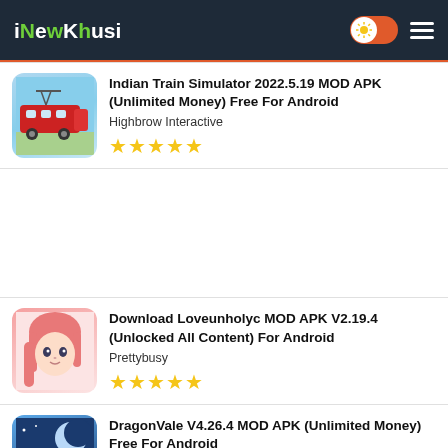iNewKhusi
Indian Train Simulator 2022.5.19 MOD APK (Unlimited Money) Free For Android
Highbrow Interactive
Download Loveunholyc MOD APK V2.19.4 (Unlocked All Content) For Android
Prettybusy
DragonVale V4.26.4 MOD APK (Unlimited Money) Free For Android
Deca Games